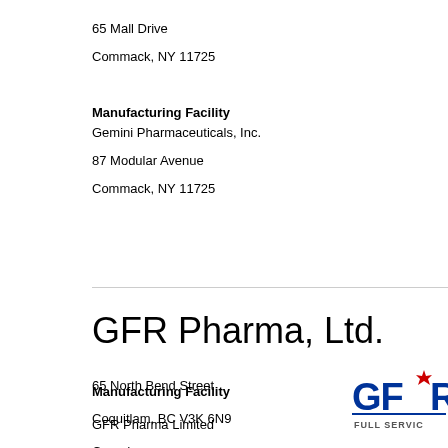65 Mall Drive
Commack, NY 11725
Manufacturing Facility
Gemini Pharmaceuticals, Inc.
87 Modular Avenue
Commack, NY 11725
GFR Pharma, Ltd.
65 North Bend Street
Coquitlam, BC V3K 6N9
Canada
877-560-8440
604-460-8440
[Figure (logo): GFR Pharma logo with maple leaf and text FULL SERVICE]
Manufacturing Facility
GFR Pharma Limited
65 North Bend Street
Coquitlam, British Columbia V3K 6N9
Canada